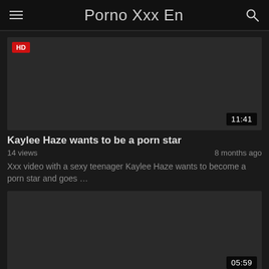Porno Xxx En
[Figure (screenshot): Dark video thumbnail with HD badge top-left and duration 11:41 bottom-right]
Kaylee Haze wants to be a porn star
14 views · 8 months ago
Xxx video with a sexy teenager Kaylee Haze wants to become a porn star and goes …
[Figure (screenshot): Dark video thumbnail with duration 05:59 bottom-right]
Porn star fucked well in the back
8 views · one year ago
Xxx movie with a good cock porn star in which she is regularly well on her back…